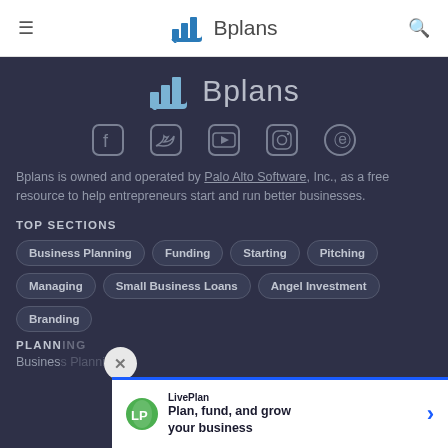≡  Bplans  🔍
[Figure (logo): Bplans logo large in dark section header]
[Figure (illustration): Social media icons row: Facebook, Twitter, YouTube, Instagram, Pinterest]
Bplans is owned and operated by Palo Alto Software, Inc., as a free resource to help entrepreneurs start and run better businesses.
TOP SECTIONS
Business Planning
Funding
Starting
Pitching
Managing
Small Business Loans
Angel Investment
Branding
PLANNING
Business...
[Figure (logo): LivePlan banner: Plan, fund, and grow your business]